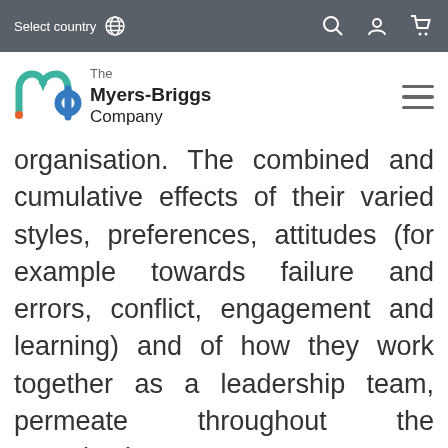Select country
[Figure (logo): The Myers-Briggs Company logo with colorful mb symbol and hamburger menu icon]
organisation. The combined and cumulative effects of their varied styles, preferences, attitudes (for example towards failure and errors, conflict, engagement and learning) and of how they work together as a leadership team, permeate throughout the organisation.
Individual leaders need to be aware of both how they ‘show up’ with the